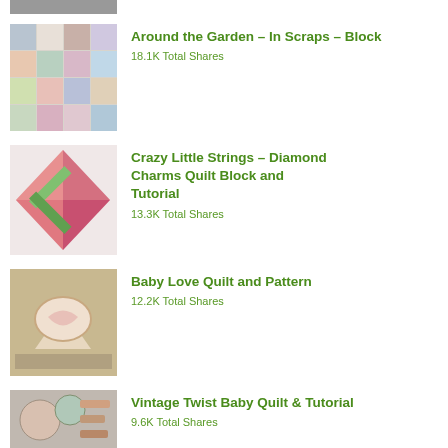[Figure (photo): Partial quilt thumbnail at top (cropped)]
Around the Garden – In Scraps – Block
18.1K Total Shares
Crazy Little Strings – Diamond Charms Quilt Block and Tutorial
13.3K Total Shares
Baby Love Quilt and Pattern
12.2K Total Shares
Vintage Twist Baby Quilt & Tutorial
9.6K Total Shares